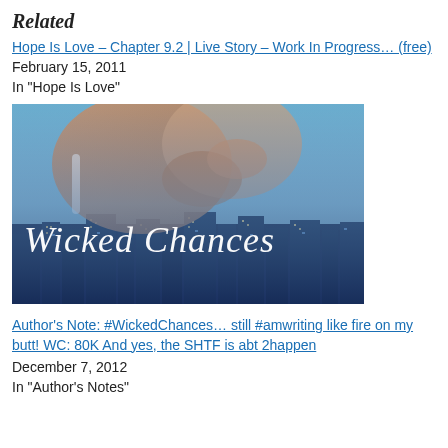Related
Hope Is Love – Chapter 9.2 | Live Story – Work In Progress… (free)
February 15, 2011
In "Hope Is Love"
[Figure (illustration): Book cover image for 'Wicked Chances' showing a romantic couple embracing with a city skyline at night in the background. The title 'Wicked Chances' is displayed in large italic script font over the image.]
Author's Note: #WickedChances… still #amwriting like fire on my butt! WC: 80K And yes, the SHTF is abt 2happen
December 7, 2012
In "Author's Notes"